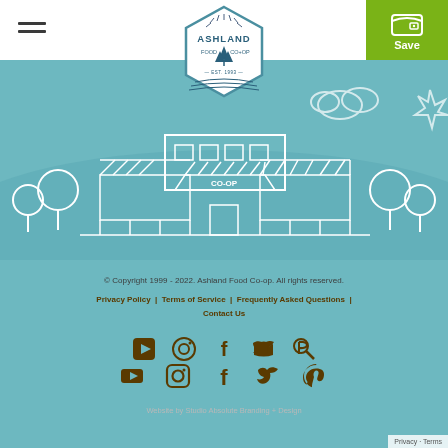[Figure (screenshot): Ashland Food Co-op website footer screenshot with logo, navigation bar, social icons, and illustrated store building on teal background]
© Copyright 1999 - 2022. Ashland Food Co-op. All rights reserved.
Privacy Policy  |  Terms of Service  |  Frequently Asked Questions  |  Contact Us
Website by Studio Absolute Branding + Design
Privacy · Terms